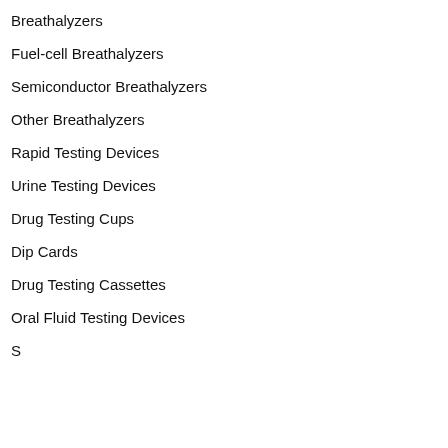Breathalyzers
Fuel-cell Breathalyzers
Semiconductor Breathalyzers
Other Breathalyzers
Rapid Testing Devices
Urine Testing Devices
Drug Testing Cups
Dip Cards
Drug Testing Cassettes
Oral Fluid Testing Devices
Sweat...